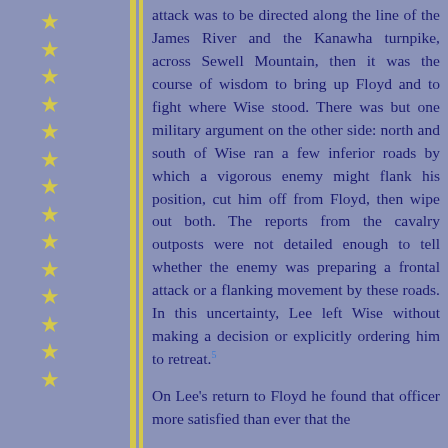attack was to be directed along the line of the James River and the Kanawha turnpike, across Sewell Mountain, then it was the course of wisdom to bring up Floyd and to fight where Wise stood. There was but one military argument on the other side: north and south of Wise ran a few inferior roads by which a vigorous enemy might flank his position, cut him off from Floyd, then wipe out both. The reports from the cavalry outposts were not detailed enough to tell whether the enemy was preparing a frontal attack or a flanking movement by these roads. In this uncertainty, Lee left Wise without making a decision or explicitly ordering him to retreat.[5]
On Lee's return to Floyd he found that officer more satisfied than ever that the